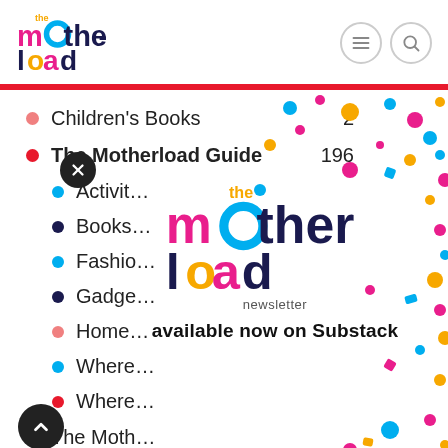[Figure (logo): The Motherload logo in top-left header with colorful lettering]
[Figure (illustration): Navigation icons: hamburger menu and search in circular borders, top-right]
Children's Books   2
The Motherload Guide   196
Activities
Books
Fashion
Gadgets
Home
Where
Where
The Motherload
Travel
[Figure (logo): The Motherload newsletter logo overlay with colorful lettering and 'newsletter' text below, plus 'available now on Substack' text]
[Figure (illustration): Colorful confetti dots scattered across the content area]